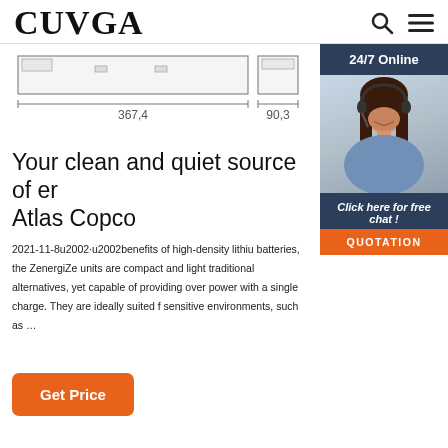CUVGA
[Figure (engineering-diagram): Technical dimensioned drawing of a flat panel/light fixture showing front and side views with dimensions 367.4 and 90.3]
Your clean and quiet source of er Atlas Copco
2021-11-8u2002·u2002benefits of high-density lithium batteries, the ZenergiZe units are compact and light traditional alternatives, yet capable of providing over power with a single charge. They are ideally suited f sensitive environments, such as …